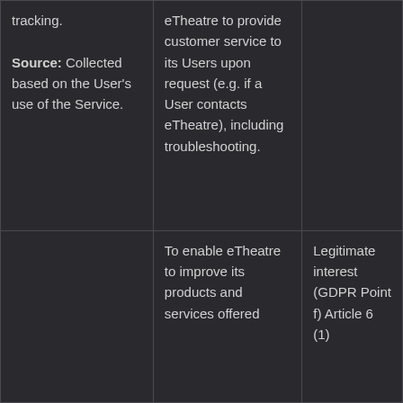| tracking.

Source: Collected based on the User's use of the Service. | eTheatre to provide customer service to its Users upon request (e.g. if a User contacts eTheatre), including troubleshooting. |  |
|  | To enable eTheatre to improve its products and services offered | Legitimate interest (GDPR Point f) Article 6 (1) |